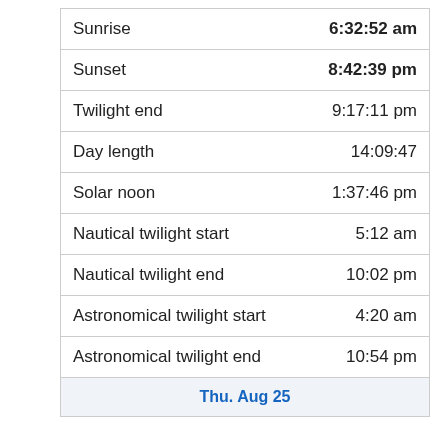|  |  |
| --- | --- |
| Sunrise | 6:32:52 am |
| Sunset | 8:42:39 pm |
| Twilight end | 9:17:11 pm |
| Day length | 14:09:47 |
| Solar noon | 1:37:46 pm |
| Nautical twilight start | 5:12 am |
| Nautical twilight end | 10:02 pm |
| Astronomical twilight start | 4:20 am |
| Astronomical twilight end | 10:54 pm |
| Thu. Aug 25 |  |